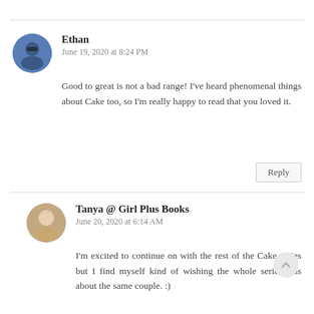Ethan
June 19, 2020 at 8:24 PM
Good to great is not a bad range! I've heard phenomenal things about Cake too, so I'm really happy to read that you loved it.
Reply
Tanya @ Girl Plus Books
June 20, 2020 at 6:14 AM
I'm excited to continue on with the rest of the Cake series but I find myself kind of wishing the whole series was about the same couple. :)